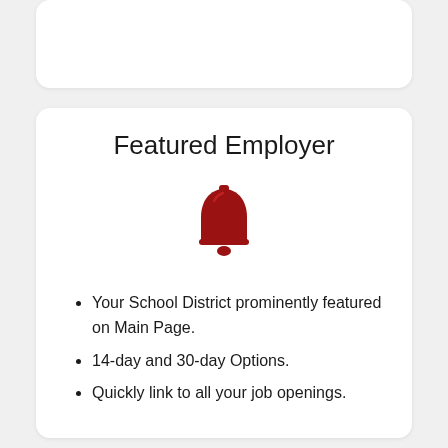[Figure (other): Top card placeholder area, white rounded rectangle with no visible content]
Featured Employer
[Figure (illustration): Red bell icon]
Your School District prominently featured on Main Page.
14-day and 30-day Options.
Quickly link to all your job openings.